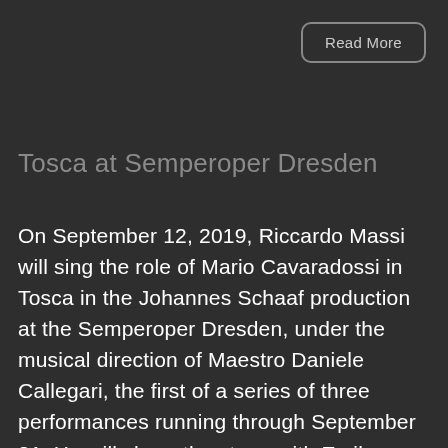Read More
Tosca at Semperoper Dresden
On September 12, 2019, Riccardo Massi will sing the role of Mario Cavaradossi in Tosca in the Johannes Schaaf production at the Semperoper Dresden, under the musical direction of Maestro Daniele Callegari, the first of a series of three performances running through September 21. He will share the stage with Emily Magee as the titular heroine and Andrzej Dobber as Scarpia. The Marches-born tenor...